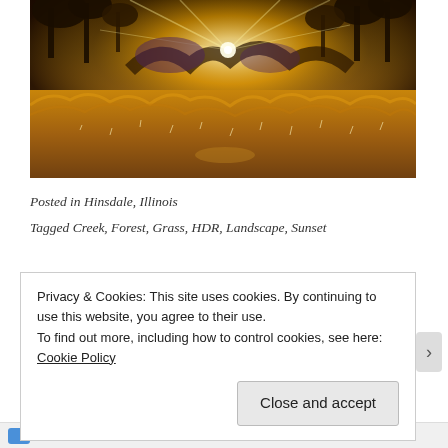[Figure (photo): Landscape photo of a frosty meadow with golden grasses and a creek, trees silhouetted against a bright sunburst at sunset or sunrise, HDR style with vivid warm tones.]
Posted in Hinsdale, Illinois
Tagged Creek, Forest, Grass, HDR, Landscape, Sunset
Privacy & Cookies: This site uses cookies. By continuing to use this website, you agree to their use.
To find out more, including how to control cookies, see here: Cookie Policy
Follow ...